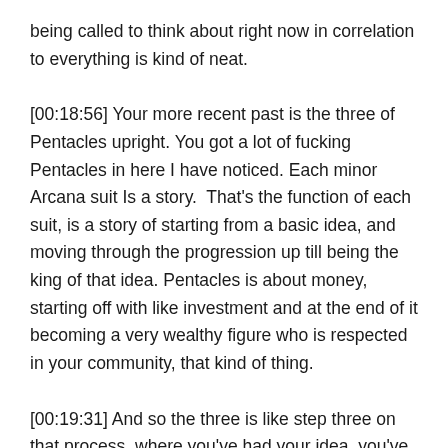being called to think about right now in correlation to everything is kind of neat.
[00:18:56] Your more recent past is the three of Pentacles upright. You got a lot of fucking Pentacles in here I have noticed. Each minor Arcana suit Is a story.  That's the function of each suit, is a story of starting from a basic idea, and moving through the progression up till being the king of that idea. Pentacles is about money, starting off with like investment and at the end of it becoming a very wealthy figure who is respected in your community, that kind of thing.
[00:19:31] And so the three is like step three on that process, where you've had your idea, you've